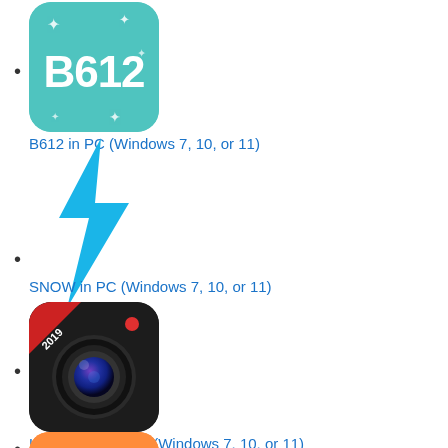B612 in PC (Windows 7, 10, or 11)
SNOW in PC (Windows 7, 10, or 11)
HD Camera in PC (Windows 7, 10, or 11)
(4th app, partially visible)